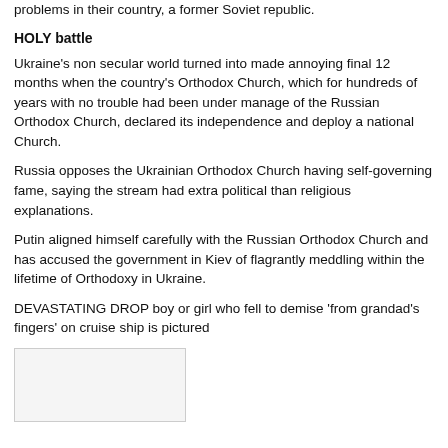problems in their country, a former Soviet republic.
HOLY battle
Ukraine's non secular world turned into made annoying final 12 months when the country's Orthodox Church, which for hundreds of years with no trouble had been under manage of the Russian Orthodox Church, declared its independence and deploy a national Church.
Russia opposes the Ukrainian Orthodox Church having self-governing fame, saying the stream had extra political than religious explanations.
Putin aligned himself carefully with the Russian Orthodox Church and has accused the government in Kiev of flagrantly meddling within the lifetime of Orthodoxy in Ukraine.
DEVASTATING DROP boy or girl who fell to demise 'from grandad's fingers' on cruise ship is pictured
[Figure (photo): A blank/placeholder image box]